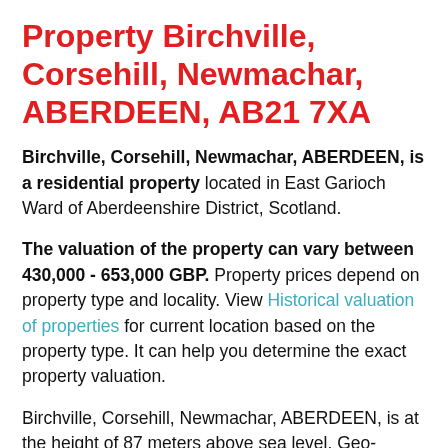Property Birchville, Corsehill, Newmachar, ABERDEEN, AB21 7XA
Birchville, Corsehill, Newmachar, ABERDEEN, is a residential property located in East Garioch Ward of Aberdeenshire District, Scotland.
The valuation of the property can vary between 430,000 - 653,000 GBP. Property prices depend on property type and locality. View Historical valuation of properties for current location based on the property type. It can help you determine the exact property valuation.
Birchville, Corsehill, Newmachar, ABERDEEN, is at the height of 87 meters above sea level. Geo-